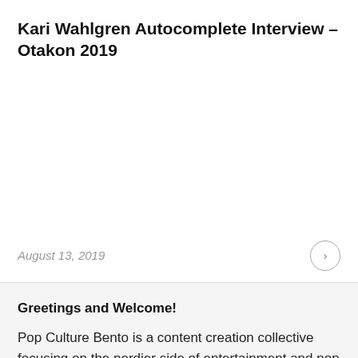Kari Wahlgren Autocomplete Interview – Otakon 2019
August 13, 2019
Greetings and Welcome!
Pop Culture Bento is a content creation collective focusing on the nerdier side of entertainment and pop culture. We've got nerd culture news, video game and movie reviews, weekly podcasts, industry interviews, comic-con coverage, and much more.